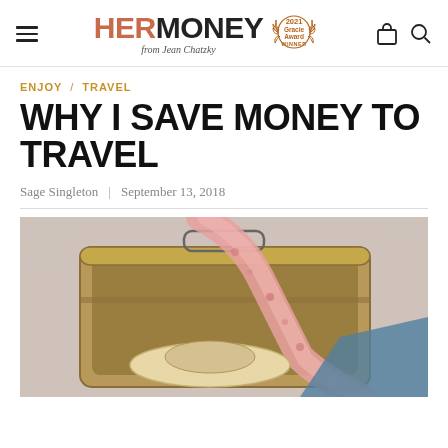HER MONEY from Jean Chatzky — 2021 Gracie Award WINNER
ENJOY / TRAVEL
WHY I SAVE MONEY TO TRAVEL
Sage Singleton | September 13, 2018
[Figure (photo): Open vintage suitcase on a bed with a pink floral scarf draped over the side and a straw hat resting inside, with blue fabric visible]